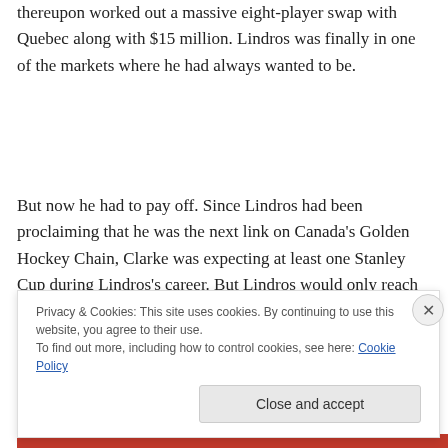thereupon worked out a massive eight-player swap with Quebec along with $15 million. Lindros was finally in one of the markets where he had always wanted to be.
But now he had to pay off. Since Lindros had been proclaiming that he was the next link on Canada's Golden Hockey Chain, Clarke was expecting at least one Stanley Cup during Lindros's career. But Lindros would only reach the Stanley Cup Final once in 1997 when the Flyers were
Privacy & Cookies: This site uses cookies. By continuing to use this website, you agree to their use.
To find out more, including how to control cookies, see here: Cookie Policy
Close and accept